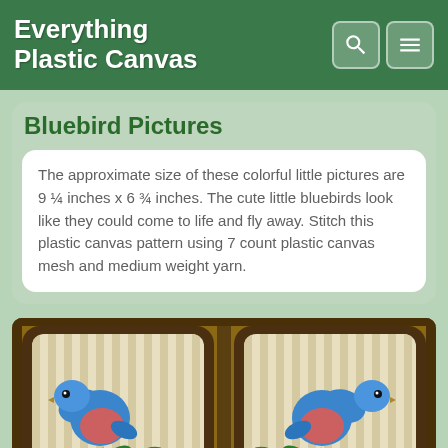Everything Plastic Canvas
Bluebird Pictures
The approximate size of these colorful little pictures are 9 ¼ inches x 6 ¾ inches. The cute little bluebirds look like they could come to life and fly away. Stitch this plastic canvas pattern using 7 count plastic canvas mesh and medium weight yarn.
[Figure (photo): Two plastic canvas bluebird pictures side by side, showing blue birds with pink/red breast and green leaves with red berries on a cream/beige striped background with dark brown border.]